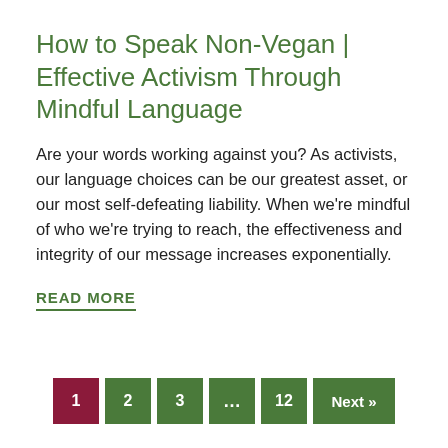How to Speak Non-Vegan | Effective Activism Through Mindful Language
Are your words working against you? As activists, our language choices can be our greatest asset, or our most self-defeating liability. When we're mindful of who we're trying to reach, the effectiveness and integrity of our message increases exponentially.
READ MORE
1  2  3  ...  12  Next »